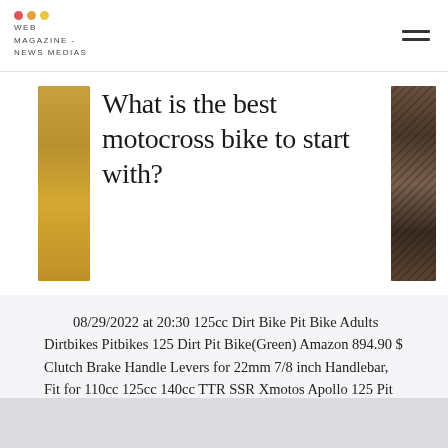WEB MAGAZINE - NEWS MEDIAS
What is the best motocross bike to start with?
08/29/2022 at 20:30 125cc Dirt Bike Pit Bike Adults Dirtbikes Pitbikes 125 Dirt Pit Bike(Green) Amazon 894.90 $ Clutch Brake Handle Levers for 22mm 7/8 inch Handlebar, Fit for 110cc 125cc 140cc TTR SSR Xmotos Apollo 125 Pit Dirt Bike CRF50 CRF70 Motor Bike Motocross Parts by KAKO Amazon 14.99 $ HIAORS Folding Clutch Lever...